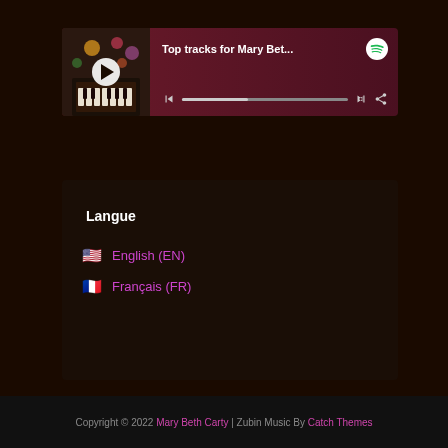[Figure (screenshot): Spotify embedded music player widget showing 'Top tracks for Mary Bet...' with album art of a person at piano with flowers, play button, progress bar, prev/next controls, and share icon on a dark maroon background]
Langue
🇺🇸 English (EN)
🇫🇷 Français (FR)
Copyright © 2022 Mary Beth Carty | Zubin Music By Catch Themes